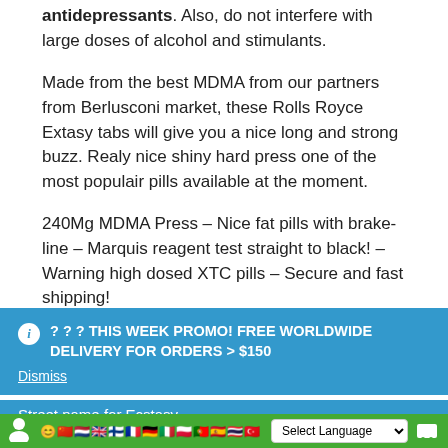antidepressants. Also, do not interfere with large doses of alcohol and stimulants.
Made from the best MDMA from our partners from Berlusconi market, these Rolls Royce Extasy tabs will give you a nice long and strong buzz. Realy nice shiny hard press one of the most populair pills available at the moment.
240Mg MDMA Press – Nice fat pills with brake-line – Marquis reagent test straight to black! – Warning high dosed XTC pills – Secure and fast shipping!
ℹ️ ? ? ? THIS WEEK PROMO! FREE WORLDWIDE DELIVERY FOR ORDERS > $150
Dismiss
Street name for Ecstasy